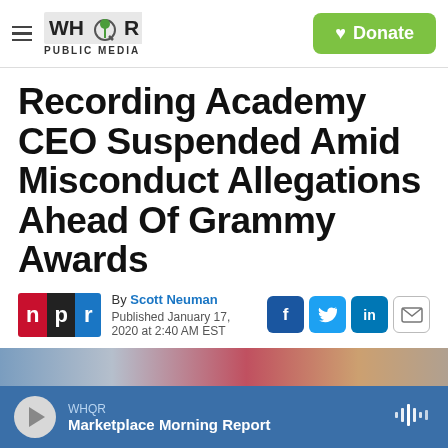WHQR PUBLIC MEDIA | Donate
Recording Academy CEO Suspended Amid Misconduct Allegations Ahead Of Grammy Awards
By Scott Neuman
Published January 17, 2020 at 2:40 AM EST
[Figure (photo): Partial photo strip at bottom of article header area]
WHQR Marketplace Morning Report